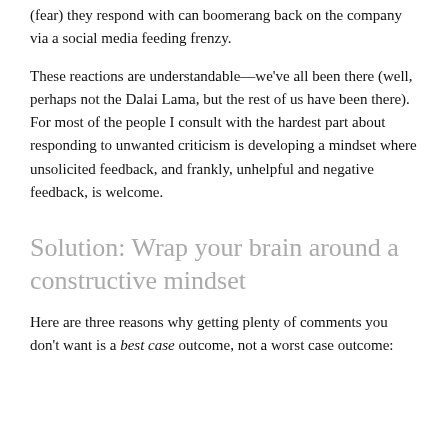(fear) they respond with can boomerang back on the company via a social media feeding frenzy.
These reactions are understandable—we've all been there (well, perhaps not the Dalai Lama, but the rest of us have been there). For most of the people I consult with the hardest part about responding to unwanted criticism is developing a mindset where unsolicited feedback, and frankly, unhelpful and negative feedback, is welcome.
Solution: Wrap your brain around a constructive mindset
Here are three reasons why getting plenty of comments you don't want is a best case outcome, not a worst case outcome: